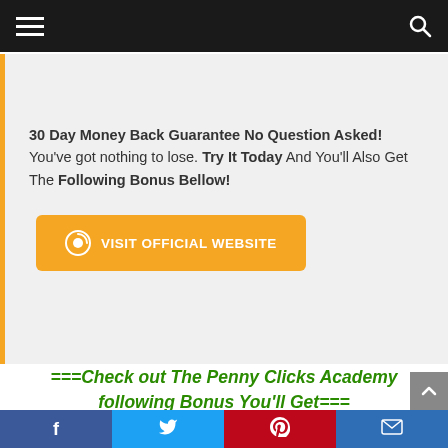Navigation bar with hamburger menu and search icon
30 Day Money Back Guarantee No Question Asked! You've got nothing to lose. Try It Today And You'll Also Get The Following Bonus Bellow!
[Figure (other): Orange button with circle-arrow icon and text VISIT OFFICIAL WEBSITE]
===Check out The Penny Clicks Academy following Bonus You'll Get===
Why should you buy it?
Social share bar: Facebook, Twitter, Pinterest, Email